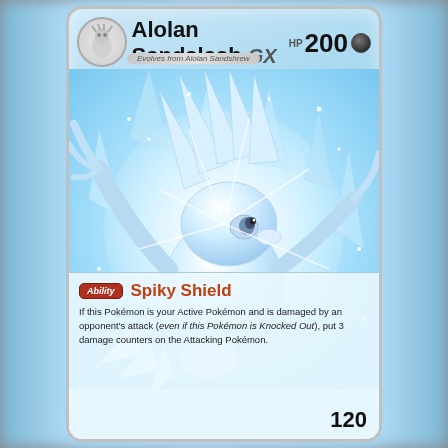Alolan Sandslash GX HP 200
STAGE 1
Evolves from Alolan Sandshrew
[Figure (illustration): Alolan Sandslash GX Pokemon card artwork showing an icy white and light blue creature with sharp spikes, glowing eyes, surrounded by crystalline ice shards and sparkling light effects on a cyan/white background.]
Ability — Spiky Shield
If this Pokémon is your Active Pokémon and is damaged by an opponent's attack (even if this Pokémon is Knocked Out), put 3 damage counters on the Attacking Pokémon.
120